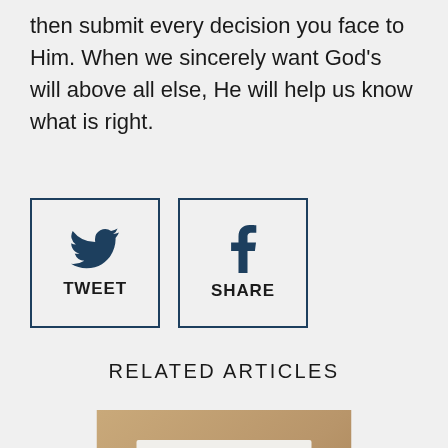then submit every decision you face to Him. When we sincerely want God's will above all else, He will help us know what is right.
[Figure (other): Tweet button with Twitter bird icon and TWEET label, and Share button with Facebook f icon and SHARE label]
RELATED ARTICLES
[Figure (photo): Article thumbnail image with warm brown/tan background, silhouette of Christ figure with outstretched arms, white card overlay with text 'Is Jesus God?']